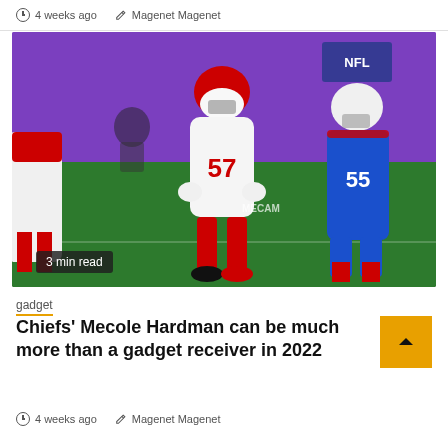4 weeks ago   Magenet Magenet
[Figure (photo): NFL football players on field during a game. A player in white jersey number 57 (Kansas City Chiefs colors, red helmet and socks) in three-point stance facing a player in blue jersey number 55. Purple stadium backdrop with NFL logo visible.]
3 min read
gadget
Chiefs' Mecole Hardman can be much more than a gadget receiver in 2022
4 weeks ago   Magenet Magenet